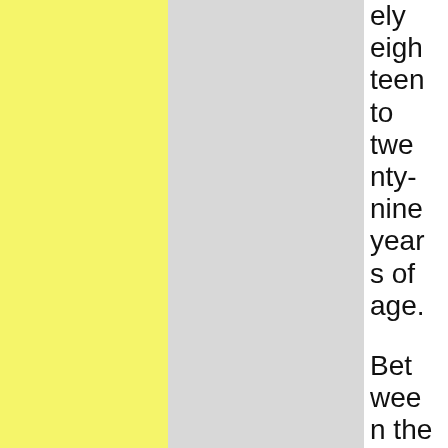ely eighteen to twenty-nine years of age. Between them is another man, except he's